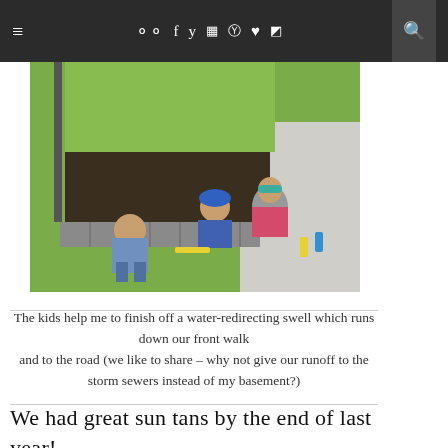≡  ◯◯ f y ☷ ⊕ ♥ ))) 🔍
[Figure (photo): Outdoor scene showing an adult and two children working on a landscaping project near a front walk and lawn, with gardening tools visible.]
The kids help me to finish off a water-redirecting swell which runs down our front walk and to the road (we like to share – why not give our runoff to the storm sewers instead of my basement?)
We had great sun tans by the end of last year!